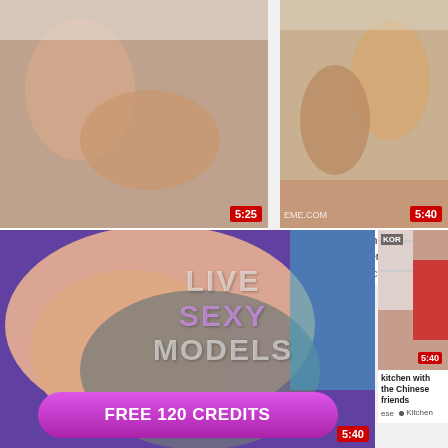[Figure (photo): Video thumbnail top-left showing intimate scene, duration 5:25]
Free version - So much cum in my wife’s mouth that gets excited when the purpose in the kitchen
[Figure (photo): Video thumbnail top-right showing mature woman in kitchen scene, duration 5:40]
Mature woman fucked in kitchen
[Figure (photo): Large advertisement thumbnail showing adult content with LIVE SEXY MODELS overlay text and FREE 120 CREDITS button, duration 5:40]
[Figure (photo): Small video thumbnail bottom-right showing woman in kitchen, Korean label, duration 5:40]
kitchen with the Chinese friends
Kitchen